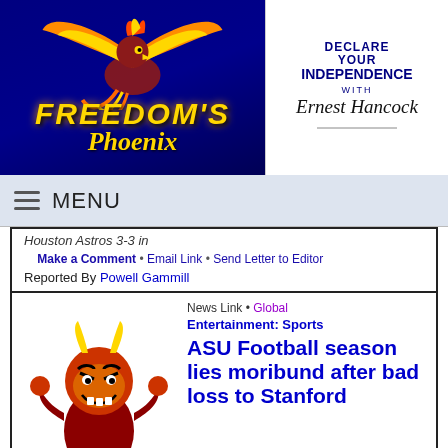[Figure (logo): Freedom's Phoenix website header logo with phoenix bird on blue background, and 'Declare Your Independence with Ernest Hancock' logo on white background]
MENU
Houston Astros 3-3 in
Make a Comment • Email Link • Send Letter to Editor
Reported By Powell Gammill
[Figure (illustration): ASU Sun Devils mascot - Sparky the Sun Devil cartoon character in maroon and gold]
News Link • Global
Entertainment: Sports
ASU Football season lies moribund after bad loss to Stanford
10-23-2005 • East Valley Tribune
Down 45-7 in third quarter, lackluster Sundevils roll over and die mid-season.
Make a Comment • Email Link • Send Letter to Editor